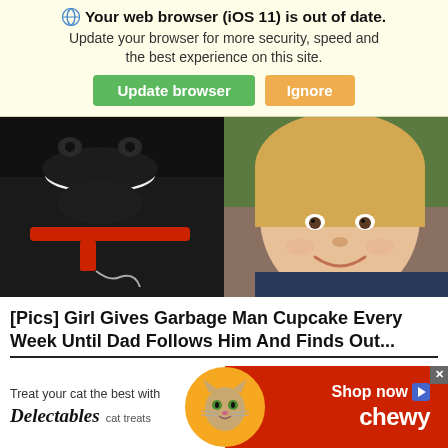🌐 Your web browser (iOS 11) is out of date. Update your browser for more security, speed and the best experience on this site. Update browser | Ignore
[Figure (photo): Photo of a black Labrador dog smiling next to a young blonde child, both looking at the camera]
[Pics] Girl Gives Garbage Man Cupcake Every Week Until Dad Follows Him And Finds Out...
[Figure (infographic): Chewy advertisement: 'Treat your cat the best with Delectables cat treats' with a photo of a cat inside a gold circle, and 'Shop now' with Chewy logo on red background]